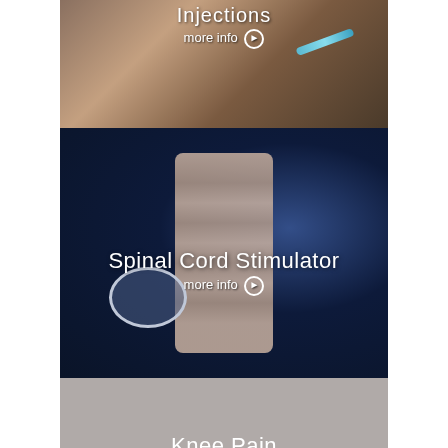[Figure (photo): Close-up photograph of hands holding a syringe/needle with a teal/blue syringe tip visible, representing injections treatment]
Injections
more info ▶
[Figure (photo): 3D medical illustration of the spinal cord with vertebrae shown in detail against a dark blue background, with a spinal cord stimulator device and lead wire visible at the lower left]
Spinal Cord Stimulator
more info ▶
[Figure (photo): Gray/neutral section representing Knee Pain, no image loaded, placeholder gray background]
Knee Pain
more info ▶